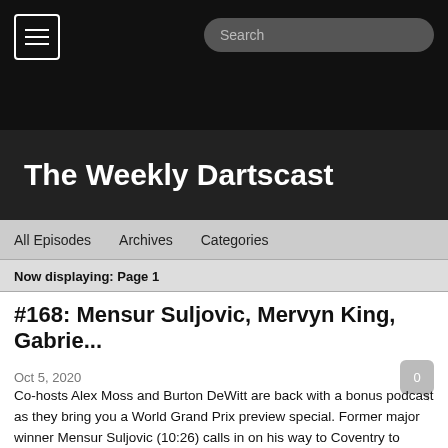The Weekly Dartscast
All Episodes   Archives   Categories
Now displaying: Page 1
#168: Mensur Suljovic, Mervyn King, Gabrie...
Oct 5, 2020
Co-hosts Alex Moss and Burton DeWitt are back with a bonus podcast as they bring you a World Grand Prix preview special. Former major winner Mensur Suljovic (10:26) calls in on his way to Coventry to reflect on his 2020 season so far, as well as look ahead to the World Grand Prix this week. Next, another former major champion Mervyn King (30:15) joins us to preview the tournament, as well as chat about his longevity in the sport. Finally, Germany's rising star Gabriel Clemens (46:57) also stops by en route to the Ricoh Arena to look back on a whirlwind three years that has taken him to the brink of the top 32. Plus, Alex and Burton make their opening night picks and predict who